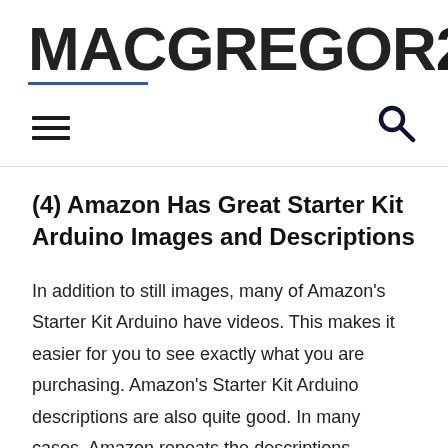MACGREGOR26
[Figure (logo): MACGREGOR26 website logo with blue underline beneath MACGREGOR]
[Figure (infographic): Navigation bar with hamburger menu icon on left and search magnifying glass icon on right]
(4) Amazon Has Great Starter Kit Arduino Images and Descriptions
In addition to still images, many of Amazon's Starter Kit Arduino have videos. This makes it easier for you to see exactly what you are purchasing. Amazon's Starter Kit Arduino descriptions are also quite good. In many cases, Amazon repeats the descriptions furnished by the